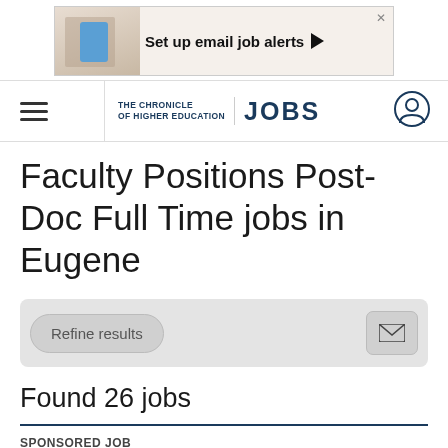[Figure (screenshot): Ad banner: Set up email job alerts with arrow button]
THE CHRONICLE OF HIGHER EDUCATION | JOBS
Faculty Positions Post-Doc Full Time jobs in Eugene
Refine results
Found 26 jobs
SPONSORED JOB
Professor of Urban Planning